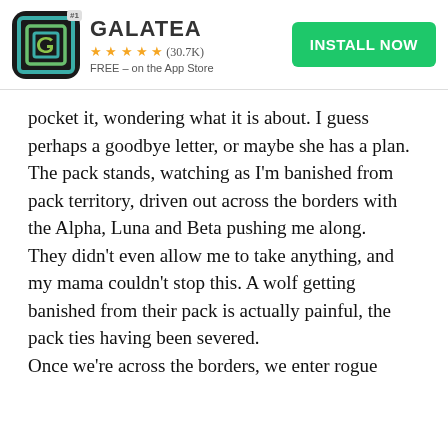[Figure (screenshot): App store advertisement banner for Galatea app with icon, 4.5 star rating (30.7K), FREE on the App Store, and green INSTALL NOW button]
pocket it, wondering what it is about. I guess perhaps a goodbye letter, or maybe she has a plan.
The pack stands, watching as I'm banished from pack territory, driven out across the borders with the Alpha, Luna and Beta pushing me along.
They didn't even allow me to take anything, and my mama couldn't stop this. A wolf getting banished from their pack is actually painful, the pack ties having been severed.
Once we're across the borders, we enter rogue